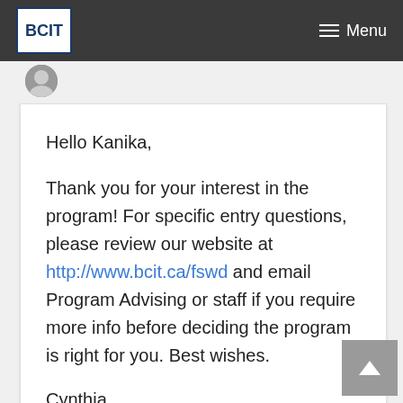BCIT Menu
Hello Kanika,
Thank you for your interest in the program! For specific entry questions, please review our website at http://www.bcit.ca/fswd and email Program Advising or staff if you require more info before deciding the program is right for you. Best wishes.
Cynthia
Reply